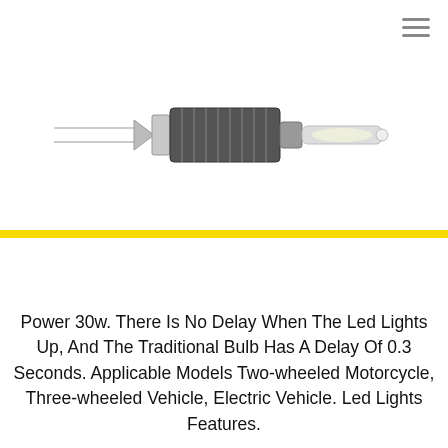[Figure (photo): LED headlight bulb product photo showing a metal base with fins/heat sink and lamp tubes extending to the left, photographed on white background]
Power 30w. There Is No Delay When The Led Lights Up, And The Traditional Bulb Has A Delay Of 0.3 Seconds. Applicable Models Two-wheeled Motorcycle, Three-wheeled Vehicle, Electric Vehicle. Led Lights Features.